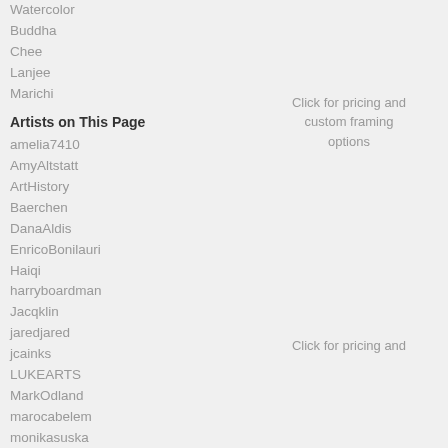Watercolor
Buddha
Chee
Lanjee
Marichi
Artists on This Page
amelia7410
AmyAltstatt
ArtHistory
Baerchen
DanaAldis
EnricoBonilauri
Haiqi
harryboardman
Jacqklin
jaredjared
jcainks
LUKEARTS
MarkOdland
marocabelem
monikasuska
o7suri
oystudio
scottwoyak
Click for pricing and custom framing options
Click for pricing and